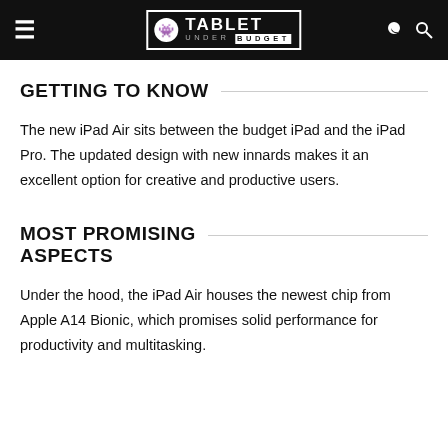TABLET UNDER BUDGET
GETTING TO KNOW
The new iPad Air sits between the budget iPad and the iPad Pro. The updated design with new innards makes it an excellent option for creative and productive users.
MOST PROMISING ASPECTS
Under the hood, the iPad Air houses the newest chip from Apple A14 Bionic, which promises solid performance for productivity and multitasking.